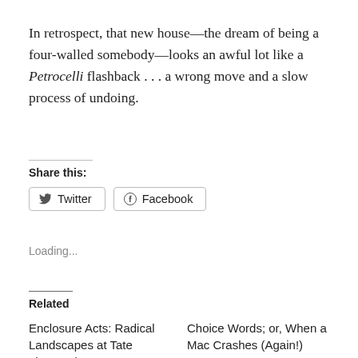In retrospect, that new house—the dream of being a four-walled somebody—looks an awful lot like a Petrocelli flashback . . . a wrong move and a slow process of undoing.
Share this:
Loading...
Related
Enclosure Acts: Radical Landscapes at Tate Liverpool
28th Aug 2022
Choice Words; or, When a Mac Crashes (Again!)
11th Feb 2008
In "Radio Plays"